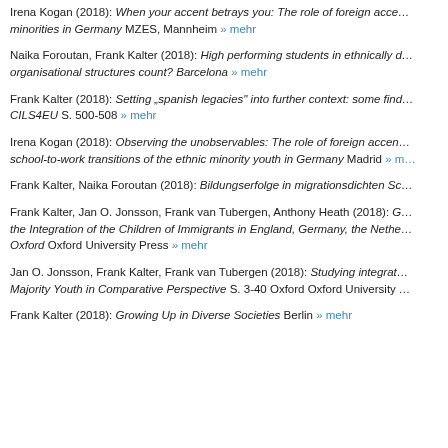Irena Kogan (2018): When your accent betrays you: The role of foreign accents for minorities in Germany MZES, Mannheim » mehr
Naika Foroutan, Frank Kalter (2018): High performing students in ethnically diverse schools: do organisational structures count? Barcelona » mehr
Frank Kalter (2018): Setting „spanish legacies" into further context: some findings from CILS4EU S. 500-508 » mehr
Irena Kogan (2018): Observing the unobservables: The role of foreign accents in school-to-work transitions of the ethnic minority youth in Germany Madrid » mehr
Frank Kalter, Naika Foroutan (2018): Bildungserfolge in migrationsdichten Sc…
Frank Kalter, Jan O. Jonsson, Frank van Tubergen, Anthony Heath (2018): Growing up: the Integration of the Children of Immigrants in England, Germany, the Netherlands Oxford Oxford University Press » mehr
Jan O. Jonsson, Frank Kalter, Frank van Tubergen (2018): Studying integration: Majority Youth in Comparative Perspective S. 3-40 Oxford Oxford University …
Frank Kalter (2018): Growing Up in Diverse Societies Berlin » mehr